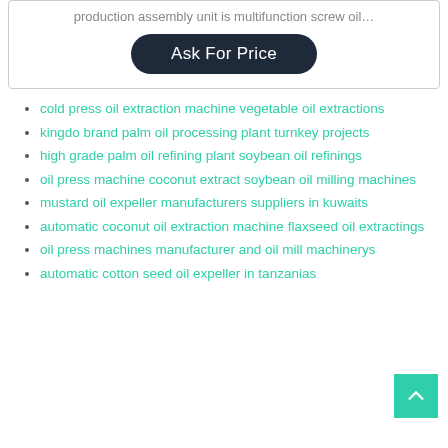production assembly unit is multifunction screw oil…
Ask For Price
cold press oil extraction machine vegetable oil extractions
kingdo brand palm oil processing plant turnkey projects
high grade palm oil refining plant soybean oil refinings
oil press machine coconut extract soybean oil milling machines
mustard oil expeller manufacturers suppliers in kuwaits
automatic coconut oil extraction machine flaxseed oil extractings
oil press machines manufacturer and oil mill machinerys
automatic cotton seed oil expeller in tanzanias